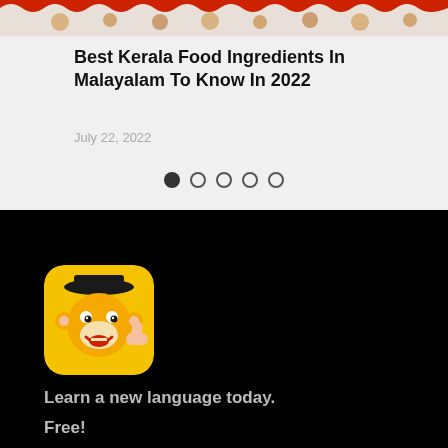[Figure (illustration): Decorative food banner with red wavy border at top, Kerala food themed imagery]
Best Kerala Food Ingredients In Malayalam To Know In 2022
July 22, 2022
[Figure (other): Pagination dots: one filled dark circle followed by four open circles]
[Figure (logo): Yellow app icon with cartoon monkey face wearing a black hat, thumbs up gesture]
Learn a new language today.
Free!